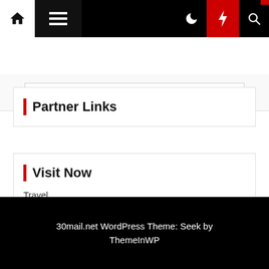[Figure (screenshot): Website navigation bar with home icon, hamburger menu, dark mode moon icon, red lightning bolt button, and search icon]
[Figure (screenshot): Search input box area]
Partner Links
Visit Now
Travel
30mail.net WordPress Theme: Seek by ThemeInWP